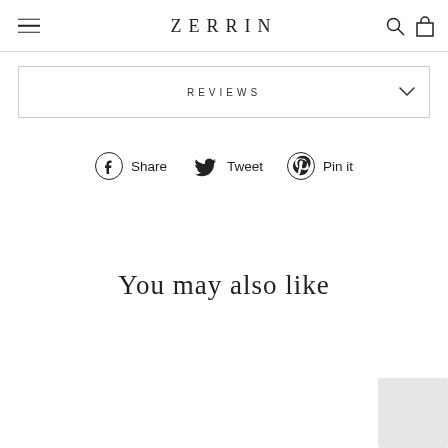ZERRIN
REVIEWS
Share   Tweet   Pin it
You may also like